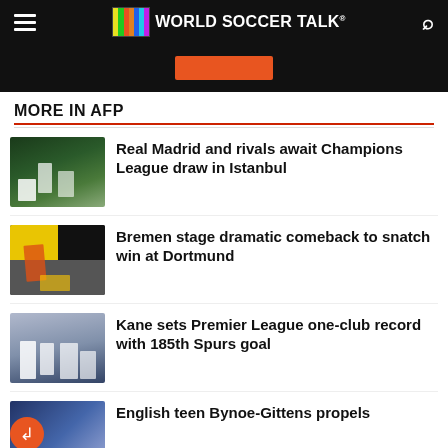WORLD SOCCER TALK
[Figure (screenshot): Ad banner with orange button on black background]
MORE IN AFP
[Figure (photo): Soccer players on field at night]
Real Madrid and rivals await Champions League draw in Istanbul
[Figure (photo): Soccer players in yellow and dark kits with collision scene]
Bremen stage dramatic comeback to snatch win at Dortmund
[Figure (photo): Tottenham Spurs players in white kit in stadium]
Kane sets Premier League one-club record with 185th Spurs goal
English teen Bynoe-Gittens propels